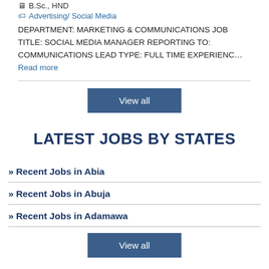B.Sc., HND
Advertising/ Social Media
DEPARTMENT: MARKETING & COMMUNICATIONS JOB TITLE: SOCIAL MEDIA MANAGER REPORTING TO: COMMUNICATIONS LEAD TYPE: FULL TIME EXPERIENC… Read more
View all
LATEST JOBS BY STATES
» Recent Jobs in Abia
» Recent Jobs in Abuja
» Recent Jobs in Adamawa
View all